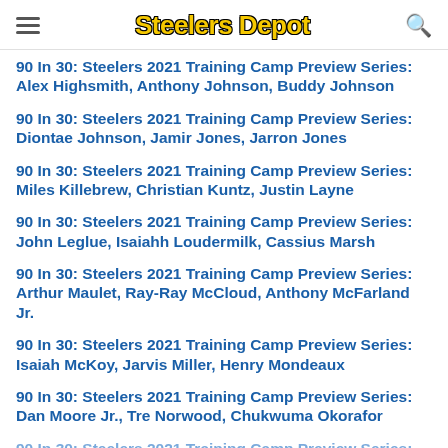Steelers Depot
90 In 30: Steelers 2021 Training Camp Preview Series: Alex Highsmith, Anthony Johnson, Buddy Johnson
90 In 30: Steelers 2021 Training Camp Preview Series: Diontae Johnson, Jamir Jones, Jarron Jones
90 In 30: Steelers 2021 Training Camp Preview Series: Miles Killebrew, Christian Kuntz, Justin Layne
90 In 30: Steelers 2021 Training Camp Preview Series: John Leglue, Isaiahh Loudermilk, Cassius Marsh
90 In 30: Steelers 2021 Training Camp Preview Series: Arthur Maulet, Ray-Ray McCloud, Anthony McFarland Jr.
90 In 30: Steelers 2021 Training Camp Preview Series: Isaiah McKoy, Jarvis Miller, Henry Mondeaux
90 In 30: Steelers 2021 Training Camp Preview Series: Dan Moore Jr., Tre Norwood, Chukwuma Okorafor
90 In 30: Steelers 2021 Training Camp Preview Series: James Pierre, Kevin Rader, Dax Raymond
90 In 30: Steelers 2021 Training Camp Preview Series: